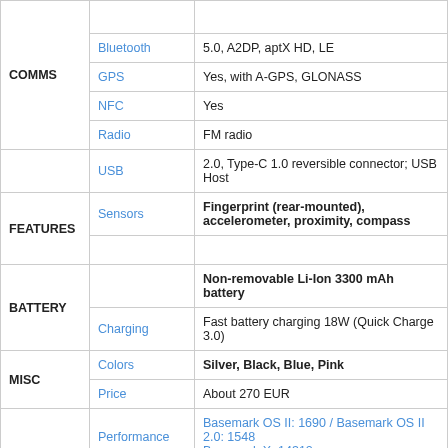| Category | Feature | Value |
| --- | --- | --- |
| COMMS | Bluetooth | 5.0, A2DP, aptX HD, LE |
| COMMS | GPS | Yes, with A-GPS, GLONASS |
| COMMS | NFC | Yes |
| COMMS | Radio | FM radio |
| COMMS | USB | 2.0, Type-C 1.0 reversible connector; USB Host |
| FEATURES | Sensors | Fingerprint (rear-mounted), accelerometer, proximity, compass |
| BATTERY |  | Non-removable Li-Ion 3300 mAh battery |
| BATTERY | Charging | Fast battery charging 18W (Quick Charge 3.0) |
| MISC | Colors | Silver, Black, Blue, Pink |
| MISC | Price | About 270 EUR |
|  | Performance | Basemark OS II: 1690 / Basemark OS II 2.0: 1548
Basemark X: 14312 |